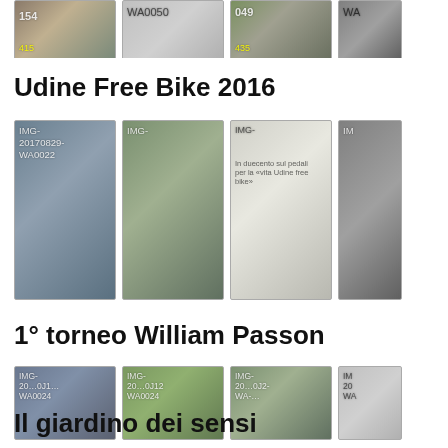[Figure (photo): Row of thumbnail images partially cropped at top of page, showing image labels including '154', 'WA0050', '049', 'WA']
Udine Free Bike 2016
[Figure (photo): Row of four thumbnail photos related to Udine Free Bike 2016 event, labeled IMG-20170829-WA0022 and similar codes]
1° torneo William Passon
[Figure (photo): Row of four thumbnail photos related to 1° torneo William Passon, labeled with IMG codes including WA0024, WA0024, and similar]
Il giardino dei sensi